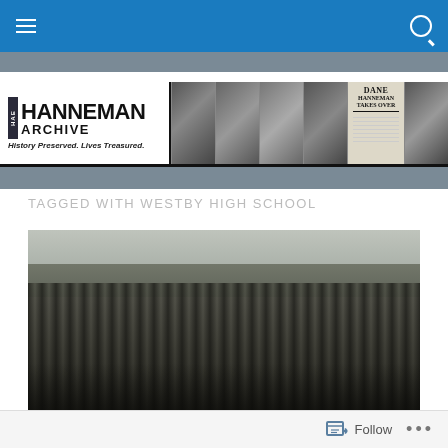Hanneman Archive — navigation bar
[Figure (logo): Hanneman Archive website banner with logo, tagline 'History Preserved. Lives Treasured.' and a strip of black-and-white historical photographs including portraits and a newspaper front page reading 'Hanneman Takes Over']
TAGGED WITH WESTBY HIGH SCHOOL
[Figure (photo): Black-and-white photograph of a football team group photo, players and coaches posed outdoors on a field with trees in the background]
Follow